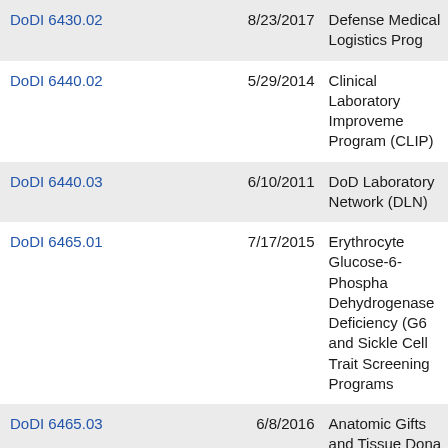| Document | Date | Title |
| --- | --- | --- |
| DoDI 6430.02 | 8/23/2017 | Defense Medical Logistics Prog... |
| DoDI 6440.02 | 5/29/2014 | Clinical Laboratory Improvement Program (CLIP) |
| DoDI 6440.03 | 6/10/2011 | DoD Laboratory Network (DLN) |
| DoDI 6465.01 | 7/17/2015 | Erythrocyte Glucose-6-Phosphate Dehydrogenase Deficiency (G6...) and Sickle Cell Trait Screening Programs |
| DoDI 6465.03 | 6/8/2016 | Anatomic Gifts and Tissue Dona... |
| DoDI 6480.04 | 1/7/2022 | Armed Services Blood Program... |
| DoDI 6485.01 | 6/7/2013 | Human Immunodeficiency Virus (HIV) in Military Service Membe... |
| DoDI 6490.03 | 6/19/2019 | Deployment Health |
| DoDI 6490.04 | 3/4/2013 | Mental Health Evaluations of Members of the Military Service... |